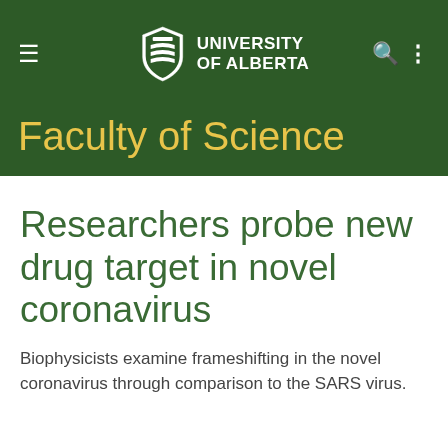UNIVERSITY OF ALBERTA
Faculty of Science
Researchers probe new drug target in novel coronavirus
Biophysicists examine frameshifting in the novel coronavirus through comparison to the SARS virus.